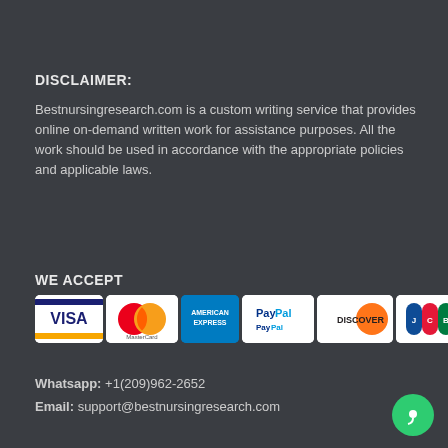DISCLAIMER:
Bestnursingresearch.com is a custom writing service that provides online on-demand written work for assistance purposes. All the work should be used in accordance with the appropriate policies and applicable laws.
WE ACCEPT
[Figure (logo): Payment method logos: Visa, MasterCard, American Express, PayPal, Discover, JCB]
Whatsapp: +1(209)962-2652
Email: support@bestnursingresearch.com